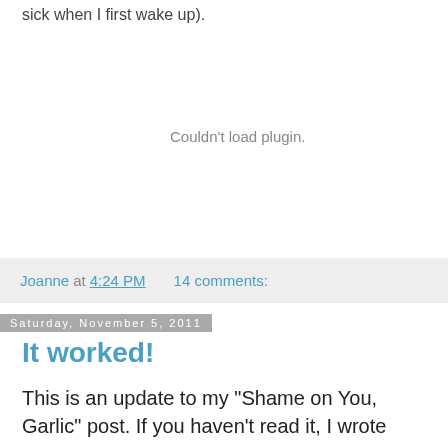sick when I first wake up).
[Figure (other): Couldn't load plugin. placeholder area for an embedded media plugin that failed to load.]
Joanne at 4:24 PM    14 comments:
Saturday, November 5, 2011
It worked!
This is an update to my "Shame on You, Garlic" post. If you haven't read it, I wrote